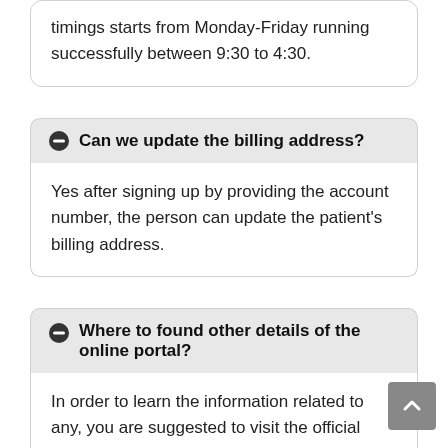timings starts from Monday-Friday running successfully between 9:30 to 4:30.
Can we update the billing address?
Yes after signing up by providing the account number, the person can update the patient's billing address.
Where to found other details of the online portal?
In order to learn the information related to any, you are suggested to visit the official website www.mymedicalpayments.com